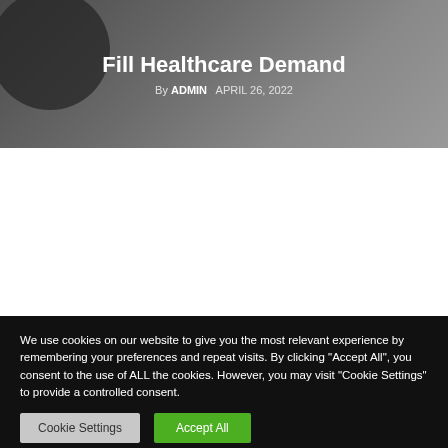Fill Healthcare Demand
By ADMIN   APRIL 26, 2022
[Figure (photo): Hero banner image with dark grey/green gradient background and dark circular blob shape on left side]
We use cookies on our website to give you the most relevant experience by remembering your preferences and repeat visits. By clicking "Accept All", you consent to the use of ALL the cookies. However, you may visit "Cookie Settings" to provide a controlled consent.
Cookie Settings   Accept All